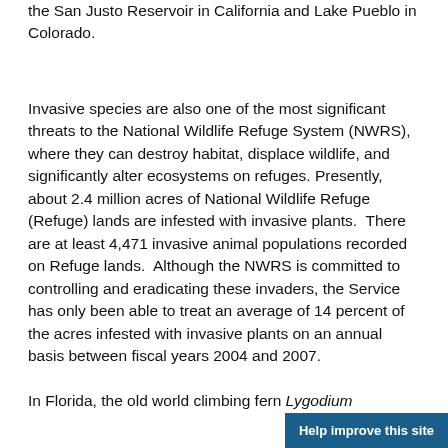the San Justo Reservoir in California and Lake Pueblo in Colorado.
Invasive species are also one of the most significant threats to the National Wildlife Refuge System (NWRS), where they can destroy habitat, displace wildlife, and significantly alter ecosystems on refuges. Presently, about 2.4 million acres of National Wildlife Refuge (Refuge) lands are infested with invasive plants. There are at least 4,471 invasive animal populations recorded on Refuge lands. Although the NWRS is committed to controlling and eradicating these invaders, the Service has only been able to treat an average of 14 percent of the acres infested with invasive plants on an annual basis between fiscal years 2004 and 2007.
In Florida, the old world climbing fern Lygodium